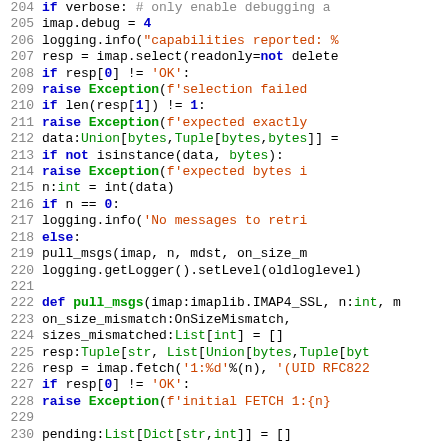[Figure (screenshot): Python source code snippet showing lines 204-230, featuring IMAP email retrieval functions with syntax highlighting. Keywords in blue/bold, strings in red/orange, function names in green, type annotations in teal, comments in gray.]